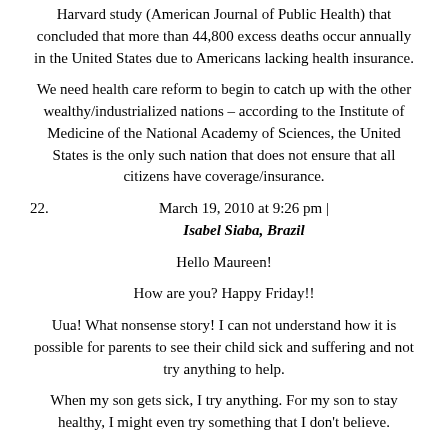Harvard study (American Journal of Public Health) that concluded that more than 44,800 excess deaths occur annually in the United States due to Americans lacking health insurance.
We need health care reform to begin to catch up with the other wealthy/industrialized nations – according to the Institute of Medicine of the National Academy of Sciences, the United States is the only such nation that does not ensure that all citizens have coverage/insurance.
March 19, 2010 at 9:26 pm |
22.  Isabel Siaba, Brazil
Hello Maureen!
How are you? Happy Friday!!
Uua! What nonsense story! I can not understand how it is possible for parents to see their child sick and suffering and not try anything to help.
When my son gets sick, I try anything. For my son to stay healthy, I might even try something that I don't believe.
It's a obligation of parents taking care of the welfare of